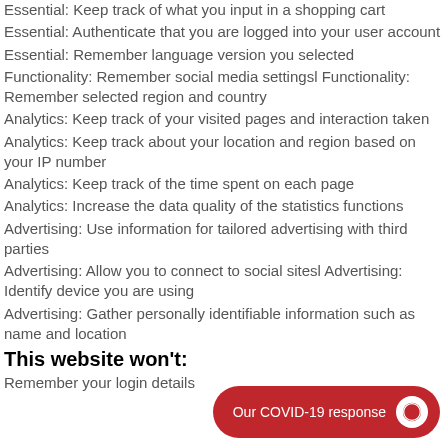Essential: Keep track of what you input in a shopping cart
Essential: Authenticate that you are logged into your user account
Essential: Remember language version you selected
Functionality: Remember social media settingsl Functionality: Remember selected region and country
Analytics: Keep track of your visited pages and interaction taken
Analytics: Keep track about your location and region based on your IP number
Analytics: Keep track of the time spent on each page
Analytics: Increase the data quality of the statistics functions
Advertising: Use information for tailored advertising with third parties
Advertising: Allow you to connect to social sitesl Advertising: Identify device you are using
Advertising: Gather personally identifiable information such as name and location
This website won't:
Remember your login details